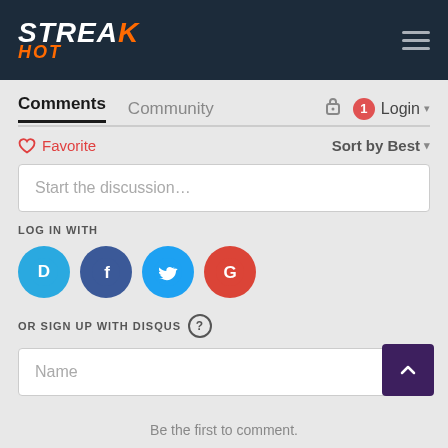[Figure (logo): StreakHot logo in white italic bold text with orange slash accent and orange HOT subtext on dark navy background, with hamburger menu icon on right]
Comments	Community	🔒	1 Login ▾
♡ Favorite	Sort by Best ▾
Start the discussion…
LOG IN WITH
[Figure (infographic): Four social login circle icons: D (Disqus, blue), F (Facebook, dark blue), Twitter bird (light blue), G (Google, red)]
OR SIGN UP WITH DISQUS ?
Name
Be the first to comment.